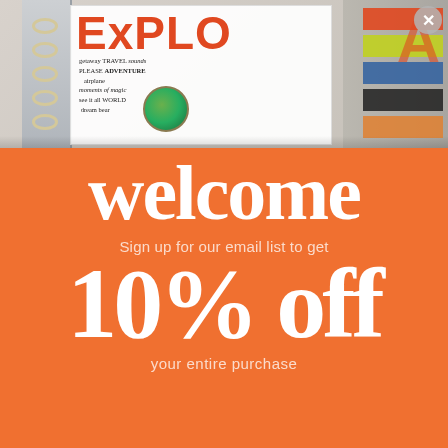[Figure (photo): Photo of a scrapbook/planner with colorful letters spelling EXPLORE, handwritten travel/adventure words, and decorative elements]
welcome
Sign up for our email list to get
10% off
your entire purchase